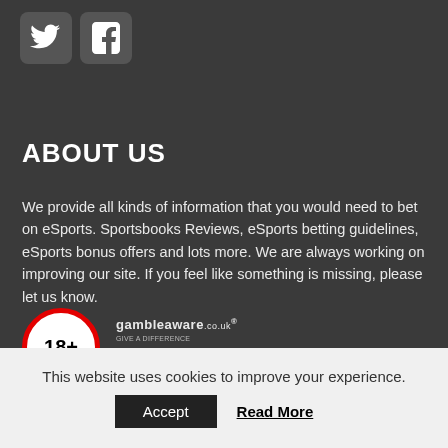[Figure (logo): Twitter and Facebook social media icons (white on grey rounded square backgrounds)]
ABOUT US
We provide all kinds of information that you would need to bet on eSports. Sportsbooks Reviews, eSports betting guidelines, eSports bonus offers and lots more. We are always working on improving our site. If you feel like something is missing, please let us know.
[Figure (logo): 18+ age restriction badge (red circle border, white fill, black text) alongside GambleAware.co.uk logo with small disclaimer text]
Copyright © 2020, esportsbets24.com
This website uses cookies to improve your experience.
Accept   Read More